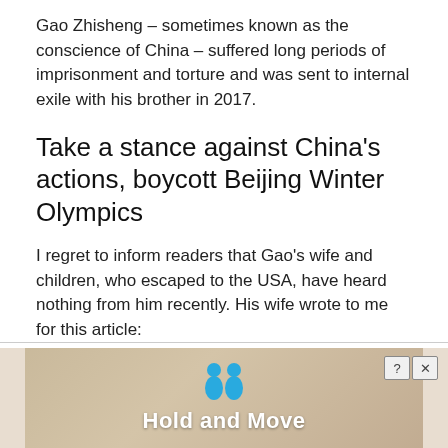Gao Zhisheng – sometimes known as the conscience of China – suffered long periods of imprisonment and torture and was sent to internal exile with his brother in 2017.
Take a stance against China's actions, boycott Beijing Winter Olympics
I regret to inform readers that Gao's wife and children, who escaped to the USA, have heard nothing from him recently. His wife wrote to me for this article:
“I think Europe has really learned about the Chinese regime. I hope they can know that the persecution still exists, against people like Gao Zhisheng who have been making efforts to change China for the Chinese people.”
[Figure (other): Advertisement banner reading 'Hold and Move' with two blue figure icons and close/info buttons]